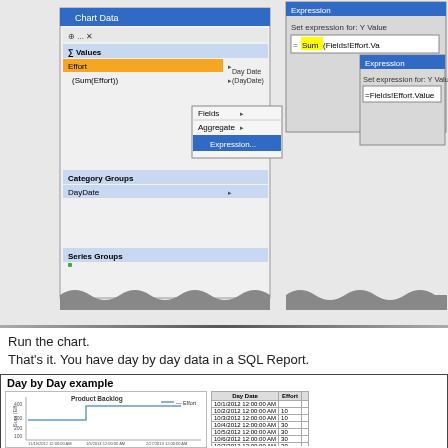[Figure (screenshot): Screenshots showing Chart Data panel with Effort/Sum(Effort) fields and Expression dialogs for Y Value: =Sum(Fields!Effort.Value) and =Fields!Effort.Value]
Run the chart.
That's it. You have day by day data in a SQL Report.
[Figure (screenshot): Day by Day example showing Product Backlog line chart with Effort series and a data table with Day Date and Effort columns]
| Day Date | Effort |
| --- | --- |
| 10/1/2012 12:00:00 AM |  |
| 10/2/2012 12:00:00 AM | 10 |
| 10/3/2012 12:00:00 AM | 10 |
| 10/4/2012 12:00:00 AM | 30 |
| 10/5/2012 12:00:00 AM | 30 |
| 10/6/2012 12:00:00 AM | 30 |
| 10/7/2012 12:00:00 AM | 30 |
| 10/8/2012 12:00:00 AM | 30 |
| 10/9/2012 12:00:00 AM | 30 |
| 10/17/2012 12:00:00 AM | 30 |
| 10/11/2012 12:00:00 AM | 30 |
| 10/12/2012 12:00:00 AM | 30 |
| 10/13/2012 12:00:00 AM |  |